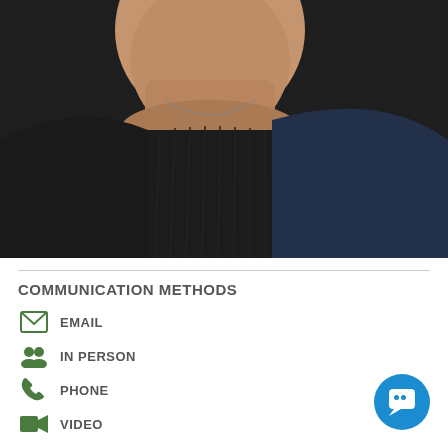[Figure (photo): Cropped photo of a person wearing a black top/sweater, showing neck and upper torso area, with a necklace visible]
COMMUNICATION METHODS
EMAIL
IN PERSON
PHONE
VIDEO